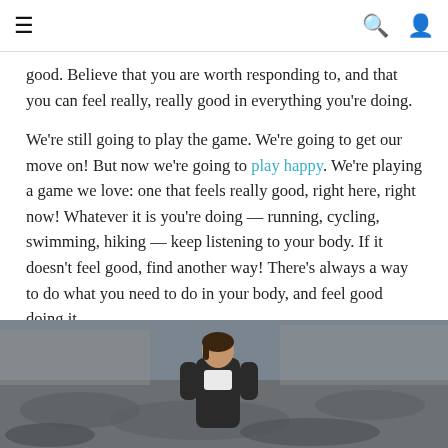≡  🔍  👤
good. Believe that you are worth responding to, and that you can feel really, really good in everything you're doing.
We're still going to play the game. We're going to get our move on! But now we're going to play happy. We're playing a game we love: one that feels really good, right here, right now! Whatever it is you're doing — running, cycling, swimming, hiking — keep listening to your body. If it doesn't feel good, find another way! There's always a way to do what you need to do in your body, and feel good doing it.
How do you find it? Relax and explore. Try things. Inch by inch, day by day, you'll get to know everything you've got, and get really good at working with it. The exciting part here? You'll discover that's everything you need, to do everything there is.
[Figure (photo): A woman in athletic wear running or walking outdoors on a textured surface, photographed from the waist up.]